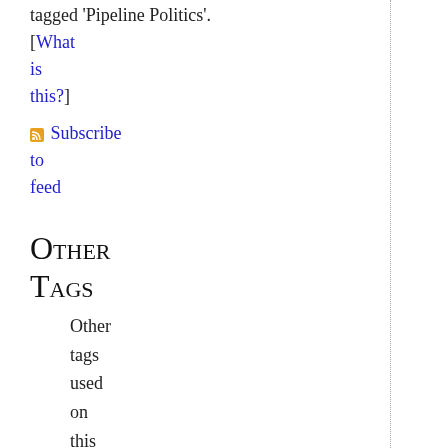tagged 'Pipeline Politics'. [What is this?]
Subscribe to feed
Other Tags
Other tags used on this blog:
#icantbreathe (1)
$300000 Watch